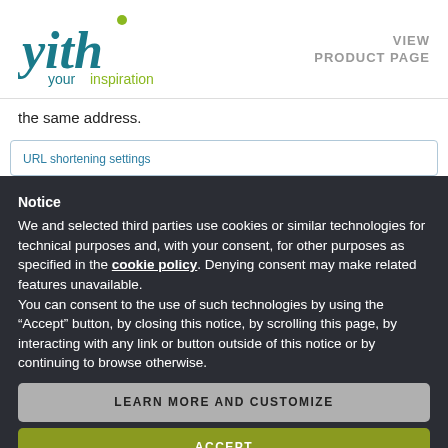[Figure (logo): YITH 'your inspiration' logo in teal/green colors]
VIEW
PRODUCT PAGE
the same address.
URL shortening settings
Notice
We and selected third parties use cookies or similar technologies for technical purposes and, with your consent, for other purposes as specified in the cookie policy. Denying consent may make related features unavailable.
You can consent to the use of such technologies by using the “Accept” button, by closing this notice, by scrolling this page, by interacting with any link or button outside of this notice or by continuing to browse otherwise.
LEARN MORE AND CUSTOMIZE
ACCEPT